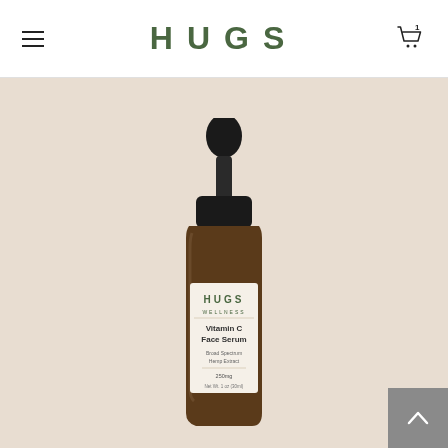HUGS
[Figure (photo): HUGS Wellness Vitamin C Face Serum product bottle with dropper, amber glass dropper bottle with label showing HUGS Wellness Vitamin C Face Serum Broad Spectrum Hemp Extract, displayed on a beige/tan background]